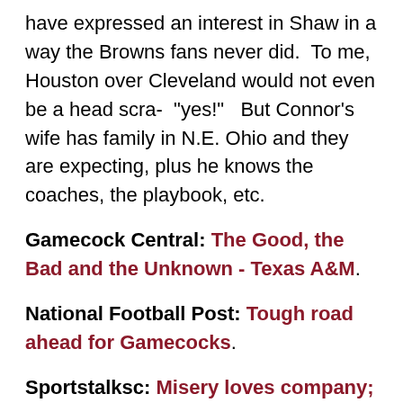have expressed an interest in Shaw in a way the Browns fans never did.  To me, Houston over Cleveland would not even be a head scra-  "yes!"   But Connor's wife has family in N.E. Ohio and they are expecting, plus he knows the coaches, the playbook, etc.
Gamecock Central: The Good, the Bad and the Unknown - Texas A&M.
National Football Post: Tough road ahead for Gamecocks.
Sportstalksc: Misery loves company; Tigers join USC with lopsided season opening loss.  Oh, the Tigs were all over the net all day Friday and through early Saturday afternoon, enjoying the last few hours of